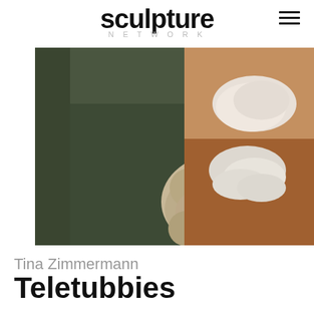sculpture NETWORK
[Figure (photo): A furry sculptural artwork resembling a Teletubby figure, made of curly brownish-grey faux fur, seated on a dark green chair. The sculpture shows a rounded fuzzy form with two leg-like extensions. Partially visible to the right is another sculpture in white/cream material on a brown surface.]
Tina Zimmermann
Teletubbies